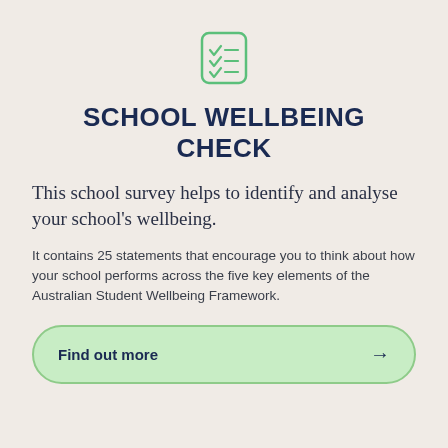[Figure (illustration): A checklist icon with three checkmarks inside a rounded square border, rendered in green outline style]
SCHOOL WELLBEING CHECK
This school survey helps to identify and analyse your school’s wellbeing.
It contains 25 statements that encourage you to think about how your school performs across the five key elements of the Australian Student Wellbeing Framework.
Find out more →